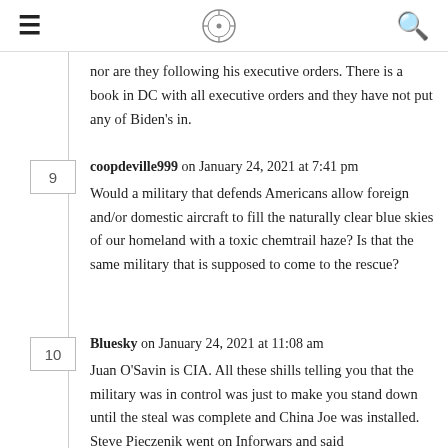≡ [logo] Q
nor are they following his executive orders. There is a book in DC with all executive orders and they have not put any of Biden's in.
coopdeville999 on January 24, 2021 at 7:41 pm
Would a military that defends Americans allow foreign and/or domestic aircraft to fill the naturally clear blue skies of our homeland with a toxic chemtrail haze? Is that the same military that is supposed to come to the rescue?
Bluesky on January 24, 2021 at 11:08 am
Juan O'Savin is CIA. All these shills telling you that the military was in control was just to make you stand down until the steal was complete and China Joe was installed. Steve Pieczenik went on Inforwars and said